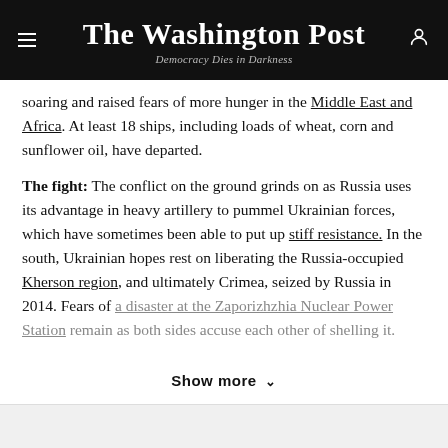The Washington Post
Democracy Dies in Darkness
soaring and raised fears of more hunger in the Middle East and Africa. At least 18 ships, including loads of wheat, corn and sunflower oil, have departed.
The fight: The conflict on the ground grinds on as Russia uses its advantage in heavy artillery to pummel Ukrainian forces, which have sometimes been able to put up stiff resistance. In the south, Ukrainian hopes rest on liberating the Russia-occupied Kherson region, and ultimately Crimea, seized by Russia in 2014. Fears of a disaster at the Zaporizhzhia Nuclear Power Station remain as both sides accuse each other of shelling it.
Show more ∨